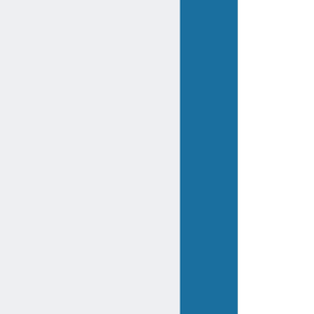number of bugs in the software and increase clarity all identified and verified bugs shall be reported on Phabricator within one week of being encountered and critical system messages will be translated.[5] The result is monitored annually.
The chapter shall promote high usability of the Wikimedia projects.
U.2.2 To make content available for more people